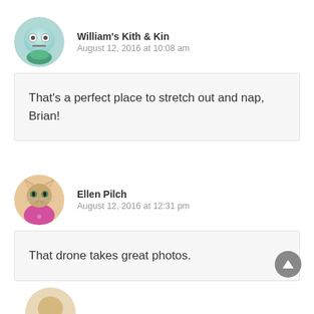William's Kith & Kin
August 12, 2016 at 10:08 am
That's a perfect place to stretch out and nap, Brian!
Ellen Pilch
August 12, 2016 at 12:31 pm
That drone takes great photos.